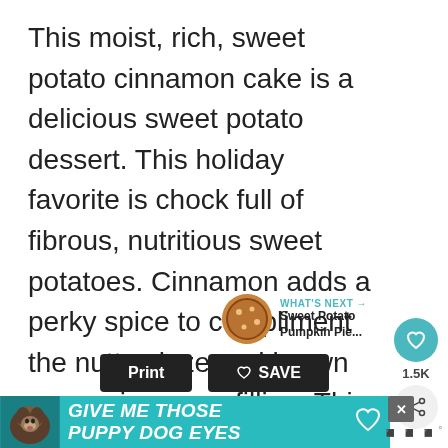This moist, rich, sweet potato cinnamon cake is a delicious sweet potato dessert. This holiday favorite is chock full of fibrous, nutritious sweet potatoes. Cinnamon adds a perky spice to compliment the nutty glaze and brown sugar cinnamon filling. This is a wonderful fall treat or popular holiday dessert
[Figure (other): Social interaction widget showing a teal heart button, 1.5K count label, and a share icon button]
[Figure (other): What's Next widget showing a circular pie image thumbnail with label 'WHAT'S NEXT →' and title 'Sweet Potato Pumpkin Pie...']
[Figure (other): Print and Save buttons in black at bottom of content area]
[Figure (other): Advertisement banner with teal background reading 'GIVE ME THOSE PUPPY DOG EYES' with dog image and heart icon, plus close X button]